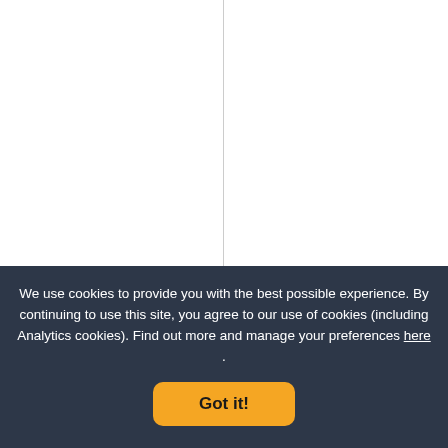[Figure (screenshot): Two-column product grid showing product image placeholders. Left cell: 'Blitz That Mould Remover', Right cell: 'Maas Metal Polish Cream'.]
Blitz That Mould Remover
Maas Metal Polish Cream
We use cookies to provide you with the best possible experience. By continuing to use this site, you agree to our use of cookies (including Analytics cookies). Find out more and manage your preferences here .
Got it!